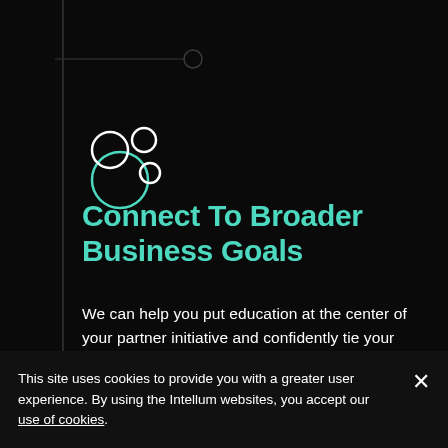[Figure (logo): Intellum logo made of overlapping circles in teal/white outline style]
Connect To Broader Business Goals
We can help you put education at the center of your partner initiative and confidently tie your channel partner program to broader business goals like brand awareness, partner performance, and revenue growth.
This site uses cookies to provide you with a greater user experience. By using the Intellum websites, you accept our use of cookies.